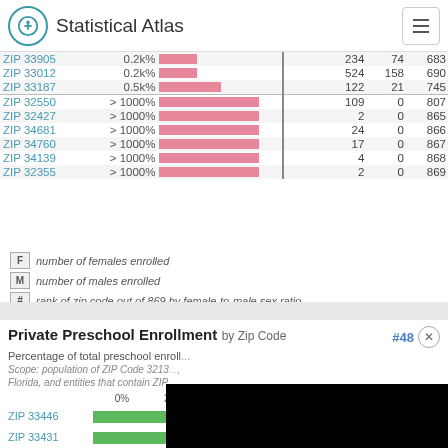Statistical Atlas
| ZIP | Pct | Bar |  | F | M | # |
| --- | --- | --- | --- | --- | --- | --- |
| ZIP 33905 | 0.2k% |  |  | 234 | 74 | 683 |
| ZIP 33012 | 0.2k% |  |  | 524 | 158 | 690 |
| ZIP 33187 | 0.5k% |  |  | 122 | 21 | 745 |
| ZIP 32550 | > 1000% |  |  | 109 | 0 | 807 |
| ZIP 32427 | > 1000% |  |  | 2 | 0 | 865 |
| ZIP 34681 | > 1000% |  |  | 24 | 0 | 866 |
| ZIP 34760 | > 1000% |  |  | 17 | 0 | 867 |
| ZIP 34139 | > 1000% |  |  | 4 | 0 | 868 |
| ZIP 32355 | > 1000% |  |  | 2 | 0 | 869 |
F  number of females enrolled
M  number of males enrolled
#  rank of zip code out of 869 by female-to-male sex ratio
Private Preschool Enrollment by Zip Code  #48
Percentage of total preschool enroll...
Scope: population of ZIP Code 3213..., Florida, and entities that contain ZIP...
[Figure (bar-chart): Partially visible horizontal bar chart showing private preschool enrollment percentages, with green bars; partially obscured by black overlay]